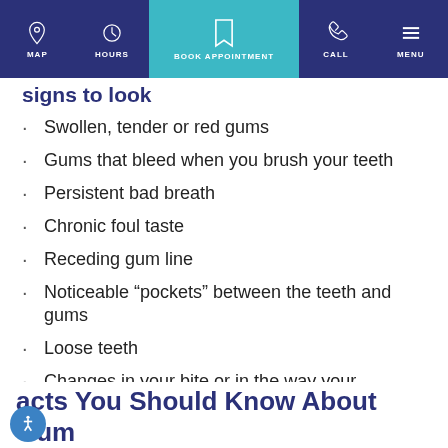MAP | HOURS | BOOK APPOINTMENT | CALL | MENU
signs to look
Swollen, tender or red gums
Gums that bleed when you brush your teeth
Persistent bad breath
Chronic foul taste
Receding gum line
Noticeable “pockets” between the teeth and gums
Loose teeth
Changes in your bite or in the way your dentures fit
acts You Should Know About Gum